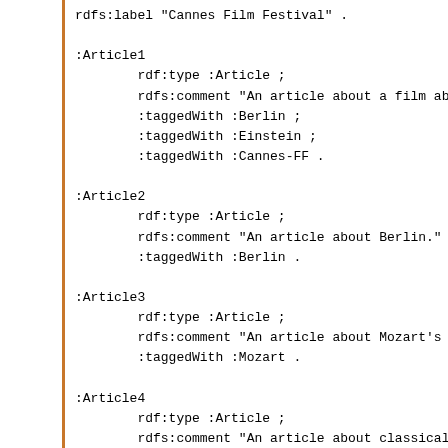rdfs:label "Cannes Film Festival" .

:Article1
        rdf:type :Article ;
        rdfs:comment "An article about a film about Ei
        :taggedWith :Berlin ;
        :taggedWith :Einstein ;
        :taggedWith :Cannes-FF .

:Article2
        rdf:type :Article ;
        rdfs:comment "An article about Berlin." ;
        :taggedWith :Berlin .

:Article3
        rdf:type :Article ;
        rdfs:comment "An article about Mozart's life.'
        :taggedWith :Mozart .

:Article4
        rdf:type :Article ;
        rdfs:comment "An article about classical musio
        :taggedWith :Berlin ;
        :taggedWith :Mozart .

:Article5
        rdf:type :Article ;
        rdfs:comment "A boring article that has no ta